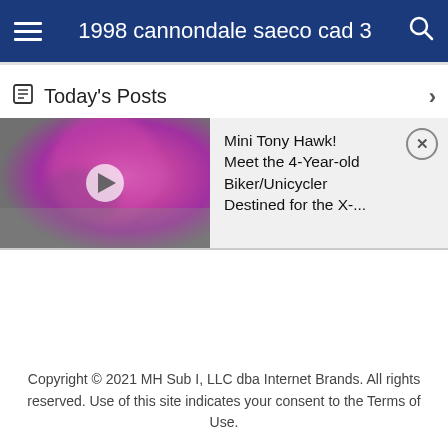1998 cannondale saeco cad 3
Today's Posts
[Figure (photo): Thumbnail of a young child wearing a pink helmet riding a bike/unicycle, with a play button overlay indicating a video.]
Mini Tony Hawk! Meet the 4-Year-old Biker/Unicycler Destined for the X-...
Copyright © 2021 MH Sub I, LLC dba Internet Brands. All rights reserved. Use of this site indicates your consent to the Terms of Use.